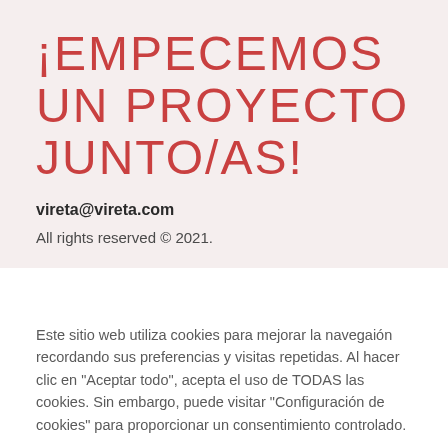¡Empecemos un proyecto junto/as!
vireta@vireta.com
All rights reserved © 2021.
Este sitio web utiliza cookies para mejorar la navegaión recordando sus preferencias y visitas repetidas. Al hacer clic en "Aceptar todo", acepta el uso de TODAS las cookies. Sin embargo, puede visitar "Configuración de cookies" para proporcionar un consentimiento controlado.
Ajustes
Aceptar todo